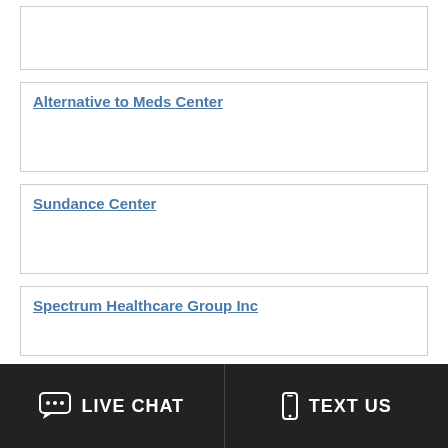Alternative to Meds Center
Sundance Center
Spectrum Healthcare Group Inc
Spectrum Healthcare
LIVE CHAT  TEXT US